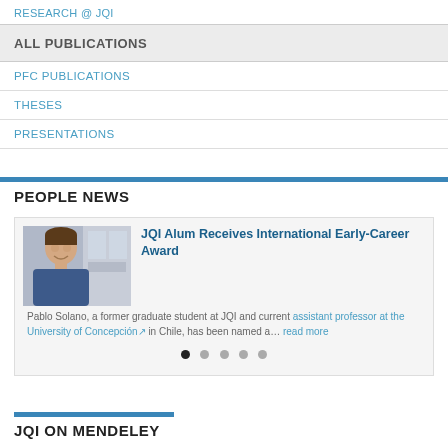RESEARCH @ JQI
ALL PUBLICATIONS
PFC PUBLICATIONS
THESES
PRESENTATIONS
PEOPLE NEWS
[Figure (photo): Photo of Pablo Solano, a young man in a blue shirt, standing in a laboratory setting]
JQI Alum Receives International Early-Career Award
Pablo Solano, a former graduate student at JQI and current assistant professor at the University of Concepción in Chile, has been named a… read more
JQI ON MENDELEY